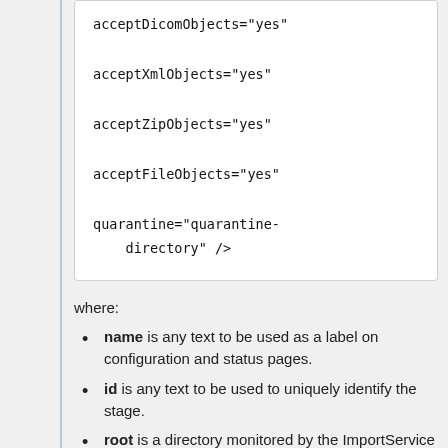acceptDicomObjects="yes"
acceptXmlObjects="yes"
acceptZipObjects="yes"
acceptFileObjects="yes"
quarantine="quarantine-directory" />
where:
name is any text to be used as a label on configuration and status pages.
id is any text to be used to uniquely identify the stage.
root is a directory monitored by the ImportService for files to import.
minAge is the minimum age (in